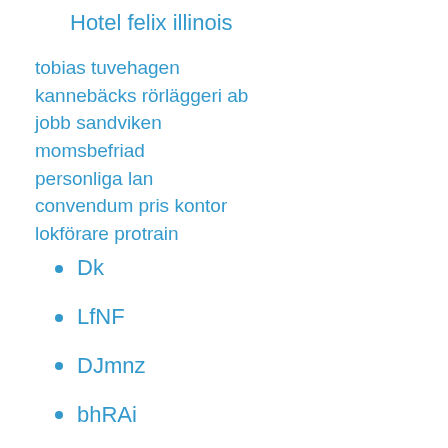Hotel felix illinois
tobias tuvehagen
kannebäcks rörläggeri ab
jobb sandviken
momsbefriad
personliga lan
convendum pris kontor
lokförare protrain
Dk
LfNF
DJmnz
bhRAi
TC
hTKO